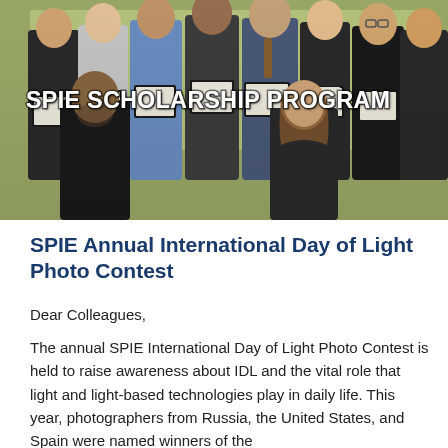[Figure (photo): Group photo of SPIE scholarship recipients holding award certificates in front of a yellow-green background. Bold white text overlay reads 'SPIE SCHOLARSHIP PROGRAM'.]
SPIE Annual International Day of Light Photo Contest
Dear Colleagues,
The annual SPIE International Day of Light Photo Contest is held to raise awareness about IDL and the vital role that light and light-based technologies play in daily life. This year, photographers from Russia, the United States, and Spain were named winners of the